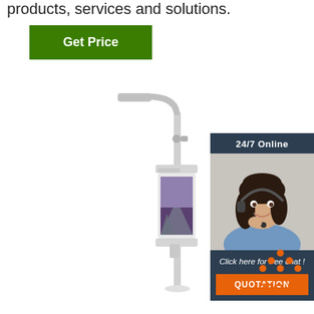products, services and solutions.
Get Price
[Figure (illustration): Smart street lamp pole with LED light arm at top, security camera, and digital display screen mounted on pole showing a mountain landscape image.]
[Figure (photo): 24/7 Online chat widget with woman wearing headset, button 'Click here for free chat!' and orange QUOTATION button.]
[Figure (illustration): TOP icon with orange dotted triangle above the text TOP in orange.]